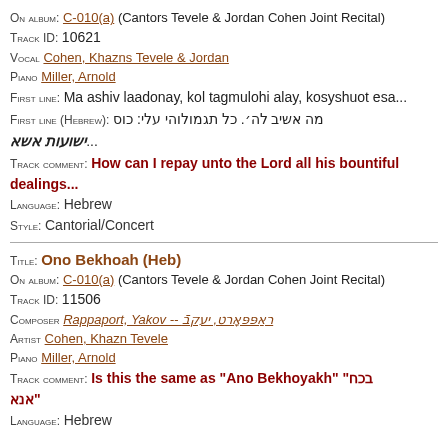On album: C-010(a) (Cantors Tevele & Jordan Cohen Joint Recital)
Track ID: 10621
Vocal Cohen, Khazns Tevele & Jordan
Piano Miller, Arnold
First line: Ma ashiv laadonay, kol tagmulohi alay, kosyshuot esa...
First line (Hebrew): מה אשיב לה'. כל תגמולוהי עלי: כוס ישועות אשא...
Track comment: How can I repay unto the Lord all his bountiful dealings...
Language: Hebrew
Style: Cantorial/Concert
Title: Ono Bekhoah (Heb)
On album: C-010(a) (Cantors Tevele & Jordan Cohen Joint Recital)
Track ID: 11506
Composer Rappaport, Yakov -- ראַפּפּאָרט, יעקבֿ
Artist Cohen, Khazn Tevele
Piano Miller, Arnold
Track comment: Is this the same as "Ano Bekhoyakh" "בכח אנא"
Language: Hebrew